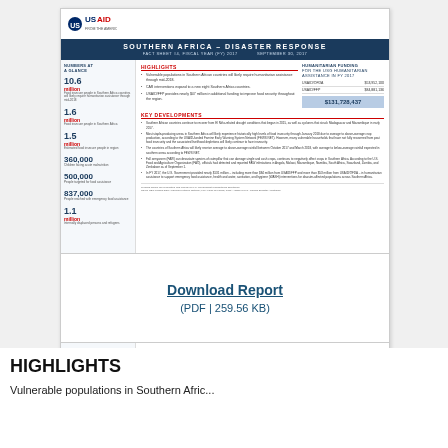[Figure (other): USAID Southern Africa Disaster Response fact sheet thumbnail document preview showing logo, title bar, numbers at a glance column, highlights, humanitarian funding, and key developments sections]
Download Report (PDF | 259.56 KB)
HIGHLIGHTS
Vulnerable populations in Southern Afric...